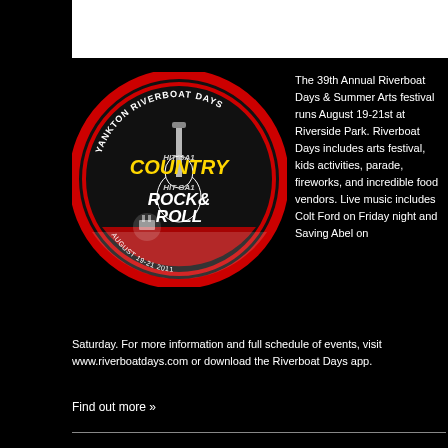[Figure (logo): Yankton Riverboat Days circular logo featuring Country and Rock & Roll text with guitar graphic, red and black color scheme]
The 39th Annual Riverboat Days & Summer Arts festival runs August 19-21st at Riverside Park. Riverboat Days includes arts festival, kids activities, parade, fireworks, and incredible food vendors. Live music includes Colt Ford on Friday night and Saving Abel on Saturday. For more information and full schedule of events, visit www.riverboatdays.com or download the Riverboat Days app.
Find out more »
Market at the Meridian
[Figure (photo): Partial image at bottom of page, appears to show a market or outdoor scene, mostly white/light colored]